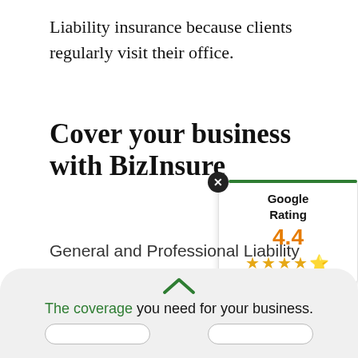Liability insurance because clients regularly visit their office.
Cover your business with BizInsure
[Figure (other): Google Rating widget showing 4.4 stars out of 5, with a green bar at top and close button]
General and Professional Liability insurance are two common forms of coverage that business owners may consider to protect themselves against different liabilities. You may decide to buy
The coverage you need for your business.